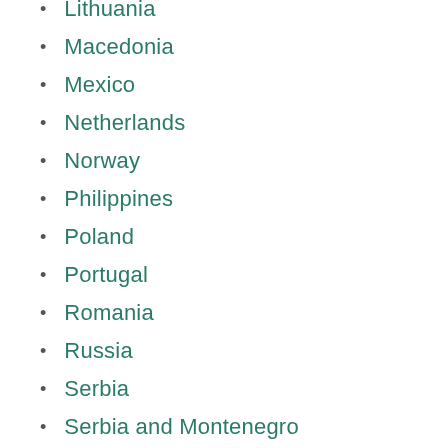Lithuania
Macedonia
Mexico
Netherlands
Norway
Philippines
Poland
Portugal
Romania
Russia
Serbia
Serbia and Montenegro
Slovakia
Slovenia
South Africa
South Korea
Spain
Sweden
Switzerland
Taiwan